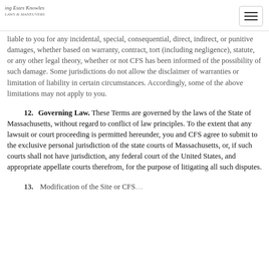ing Estes Knowles / LAWS & MANEUVERS
liable to you for any incidental, special, consequential, direct, indirect, or punitive damages, whether based on warranty, contract, tort (including negligence), statute, or any other legal theory, whether or not CFS has been informed of the possibility of such damage. Some jurisdictions do not allow the disclaimer of warranties or limitation of liability in certain circumstances. Accordingly, some of the above limitations may not apply to you.
12.      Governing Law. These Terms are governed by the laws of the State of Massachusetts, without regard to conflict of law principles. To the extent that any lawsuit or court proceeding is permitted hereunder, you and CFS agree to submit to the exclusive personal jurisdiction of the state courts of Massachusetts, or, if such courts shall not have jurisdiction, any federal court of the United States, and appropriate appellate courts therefrom, for the purpose of litigating all such disputes.
13.   Modification of the Site or CFS...